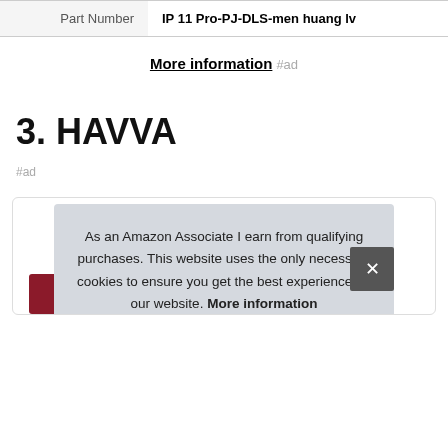| Part Number | IP 11 Pro-PJ-DLS-men huang lv |
More information #ad
3. HAVVA
#ad
As an Amazon Associate I earn from qualifying purchases. This website uses the only necessary cookies to ensure you get the best experience on our website. More information